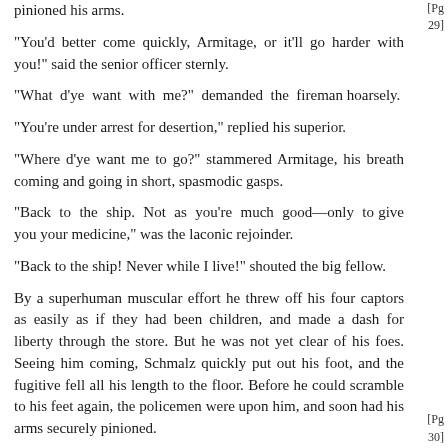pinioned his arms.
"You'd better come quickly, Armitage, or it'll go harder with you!" said the senior officer sternly.
"What d'ye want with me?" demanded the fireman hoarsely.
"You're under arrest for desertion," replied his superior.
"Where d'ye want me to go?" stammered Armitage, his breath coming and going in short, spasmodic gasps.
"Back to the ship. Not as you're much good—only to give you your medicine," was the laconic rejoinder.
"Back to the ship! Never while I live!" shouted the big fellow.
By a superhuman muscular effort he threw off his four captors as easily as if they had been children, and made a dash for liberty through the store. But he was not yet clear of his foes. Seeing him coming, Schmalz quickly put out his foot, and the fugitive fell all his length to the floor. Before he could scramble to his feet again, the policemen were upon him, and soon had his arms securely pinioned.
[Pg 29]
[Pg 30]